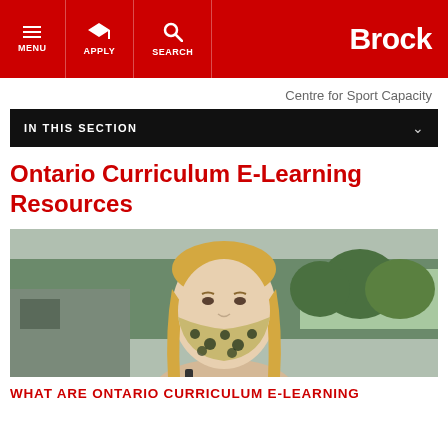MENU  APPLY  SEARCH  Brock
Centre for Sport Capacity
IN THIS SECTION
Ontario Curriculum E-Learning Resources
[Figure (photo): Young woman with long blonde hair wearing a patterned face mask, standing outdoors with trees and a building visible in the background]
WHAT ARE ONTARIO CURRICULUM E-LEARNING